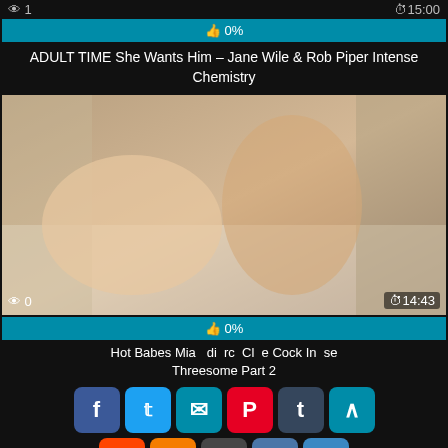👁 1   ⏱15:00
👍 0%
ADULT TIME She Wants Him – Jane Wile & Rob Piper Intense Chemistry
[Figure (photo): Video thumbnail showing adult content]
👁 0   ⏱14:43
👍 0%
Hot Babes Mia ... Cock In... se Threesome Part 2
[Figure (infographic): Social share buttons: Facebook, Twitter, Email, Pinterest, Tumblr, scroll-up, Reddit, Blogger, WordPress, VK, More]